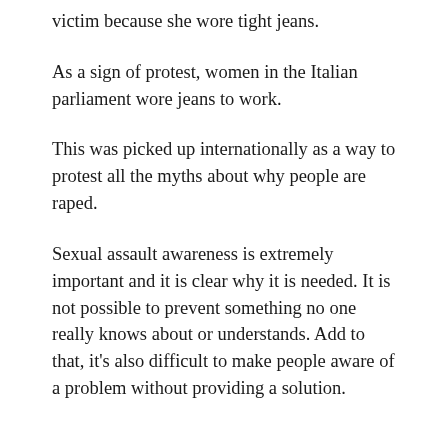victim because she wore tight jeans.
As a sign of protest, women in the Italian parliament wore jeans to work.
This was picked up internationally as a way to protest all the myths about why people are raped.
Sexual assault awareness is extremely important and it is clear why it is needed. It is not possible to prevent something no one really knows about or understands. Add to that, it's also difficult to make people aware of a problem without providing a solution.